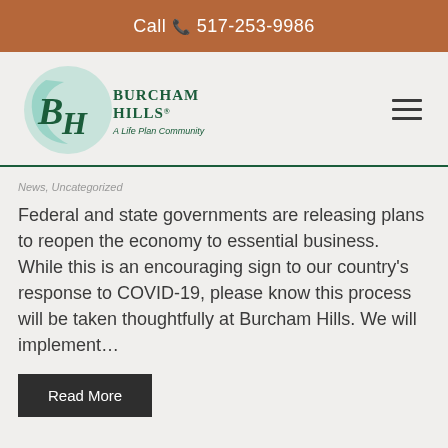Call 517-253-9986
[Figure (logo): Burcham Hills A Life Plan Community logo with stylized BH letters and swirl design in teal/green]
News, Uncategorized
Federal and state governments are releasing plans to reopen the economy to essential business. While this is an encouraging sign to our country's response to COVID-19, please know this process will be taken thoughtfully at Burcham Hills. We will implement…
Read More